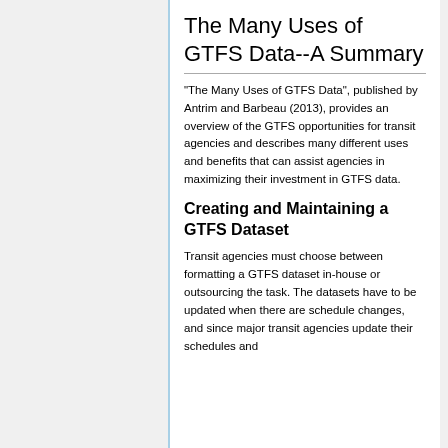The Many Uses of GTFS Data--A Summary
"The Many Uses of GTFS Data", published by Antrim and Barbeau (2013), provides an overview of the GTFS opportunities for transit agencies and describes many different uses and benefits that can assist agencies in maximizing their investment in GTFS data.
Creating and Maintaining a GTFS Dataset
Transit agencies must choose between formatting a GTFS dataset in-house or outsourcing the task. The datasets have to be updated when there are schedule changes, and since major transit agencies update their schedules and